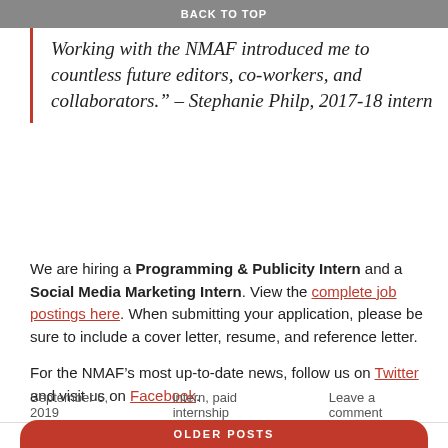BACK TO TOP
Working with the NMAF introduced me to countless future editors, co-workers, and collaborators.” – Stephanie Philp, 2017-18 intern
We are hiring a Programming & Publicity Intern and a Social Media Marketing Intern. View the complete job postings here. When submitting your application, please be sure to include a cover letter, resume, and reference letter.
For the NMAF’s most up-to-date news, follow us on Twitter and visit us on Facebook.
September 6, 2019   intern, paid internship   Leave a comment
OLDER POSTS